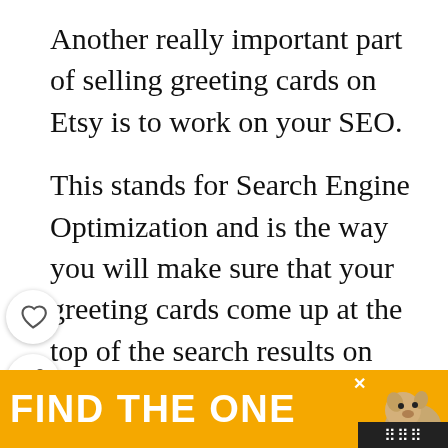Another really important part of selling greeting cards on Etsy is to work on your SEO.
This stands for Search Engine Optimization and is the way you will make sure that your greeting cards come up at the top of the search results on Etsy.
To improve your Etsy SEO, you need to use good keywords in your title and description.
Consider the kinds of words someone might se...
[Figure (screenshot): UI overlay with heart/like button and share button on the left side]
[Figure (infographic): What's Next promo box: 'Start A Gift Basket...' with thumbnail image]
[Figure (screenshot): Ad banner: FIND THE ONE with dog image on yellow background]